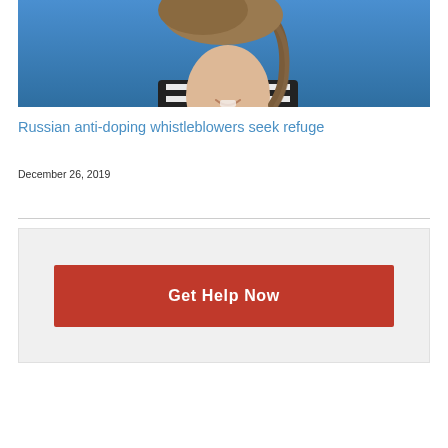[Figure (photo): Cropped photo of a woman with a braided hairstyle, smiling, wearing a black and white striped top, against a blue background.]
Russian anti-doping whistleblowers seek refuge
December 26, 2019
[Figure (infographic): Call-to-action button labeled 'Get Help Now' on a light grey background box.]